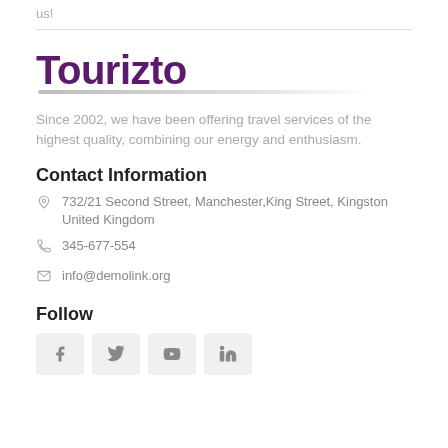us!
[Figure (logo): Tourizto brand logo in bold purple text with underline]
Since 2002, we have been offering travel services of the highest quality, combining our energy and enthusiasm.
Contact Information
732/21 Second Street, Manchester,King Street, Kingston United Kingdom
345-677-554
info@demolink.org
Follow
[Figure (infographic): Row of four social media icon buttons: Facebook, Twitter, YouTube, LinkedIn]